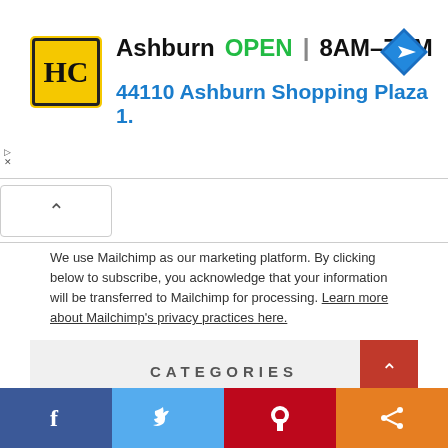[Figure (infographic): Advertisement banner: HC logo (yellow/black), Ashburn OPEN 8AM-7PM, 44110 Ashburn Shopping Plaza 1., blue navigation arrow icon]
We use Mailchimp as our marketing platform. By clicking below to subscribe, you acknowledge that your information will be transferred to Mailchimp for processing. Learn more about Mailchimp's privacy practices here.
[Figure (screenshot): SUBSCRIBE button, gray rounded rectangle]
CATEGORIES
[Figure (infographic): Social share bar: Facebook (blue), Twitter (light blue), Pinterest (red), Share (orange)]